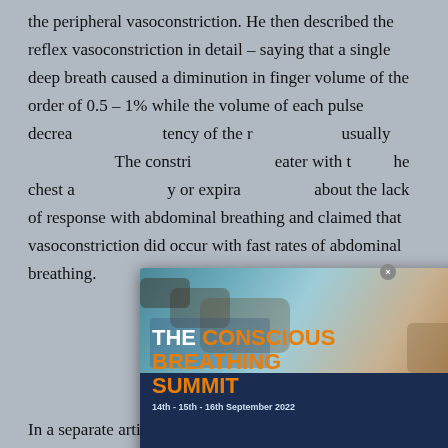the peripheral vasoconstriction. He then described the reflex vasoconstriction in detail – saying that a single deep breath caused a diminution in finger volume of the order of 0.5 – 1% while the volume of each pulse decreased ... latency of the r... usually ... The constriction ... the chest a... y or expiration ... about the lack of response with abdominal breathing and claimed that vasoconstriction did occur with fast rates of abdominal breathing.
[Figure (infographic): Popup advertisement for 'The Conscious Breathing Summit' – 14th - 15th - 16th September 2022. Background shows rocky coastal scene. Logo: circular emblem with figure and wave motif. Tagline: LIFE IS A WAVE — LEARN HOW TO SURF IT / THROUGH LOW, SLOW, RHYTHMIC BREATHING. Close button (x) at top right.]
In a separate article in 1948, Gilliat attempted to define